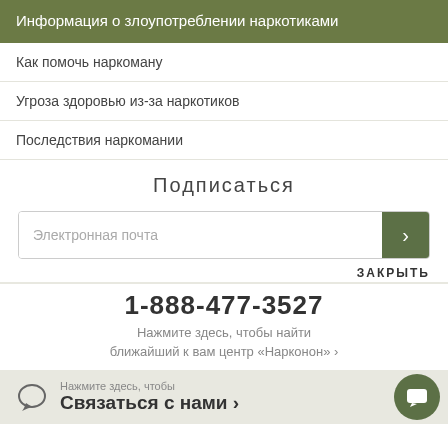Информация о злоупотреблении наркотиками
Как помочь наркоману
Угроза здоровью из-за наркотиков
Последствия наркомании
Подписаться
Электронная почта
ЗАКРЫТЬ
1-888-477-3527
Нажмите здесь, чтобы найти ближайший к вам центр «Нарконон» ›
Нажмите здесь, чтобы Связаться с нами ›